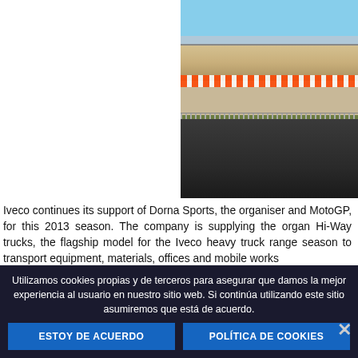[Figure (photo): Aerial/elevated view of a MotoGP racing circuit with pit lane buildings, orange safety barriers, racing track, fence, and crowd of spectators and media photographers in the foreground.]
Iveco continues its support of Dorna Sports, the organiser and MotoGP, for this 2013 season. The company is supplying the organ Hi-Way trucks, the flagship model for the Iveco heavy truck range season to transport equipment, materials, offices and mobile works
Utilizamos cookies propias y de terceros para asegurar que damos la mejor experiencia al usuario en nuestro sitio web. Si continúa utilizando este sitio asumiremos que está de acuerdo.
ESTOY DE ACUERDO
POLÍTICA DE COOKIES